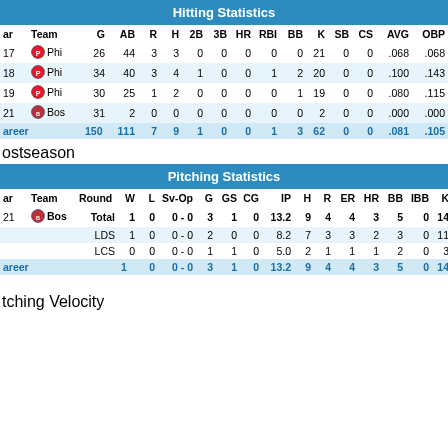Hitting Statistics
| Year | Team | G | AB | R | H | 2B | 3B | HR | RBI | BB | K | SB | CS | AVG | OBP | SL |
| --- | --- | --- | --- | --- | --- | --- | --- | --- | --- | --- | --- | --- | --- | --- | --- | --- |
| 17 | Phi | 26 | 44 | 3 | 3 | 0 | 0 | 0 | 0 | 0 | 21 | 0 | 0 | .068 | .068 | .0 |
| 18 | Phi | 34 | 40 | 3 | 4 | 1 | 0 | 0 | 1 | 2 | 20 | 0 | 0 | .100 | .143 | .1 |
| 19 | Phi | 30 | 25 | 1 | 2 | 0 | 0 | 0 | 0 | 1 | 19 | 0 | 0 | .080 | .115 | .0 |
| 21 | Bos | 31 | 2 | 0 | 0 | 0 | 0 | 0 | 0 | 0 | 2 | 0 | 0 | .000 | .000 | .0 |
| Career |  | 150 | 111 | 7 | 9 | 1 | 0 | 0 | 1 | 3 | 62 | 0 | 0 | .081 | .105 | .0 |
Postseason
Pitching Statistics
| Year | Team | Round | W | L | Sv-Op | G | GS | CG | IP | H | R | ER | HR | BB | IBB | K | E |
| --- | --- | --- | --- | --- | --- | --- | --- | --- | --- | --- | --- | --- | --- | --- | --- | --- | --- |
| 21 | Bos | Total | 1 | 0 | 0 - 0 | 3 | 1 | 0 | 13.2 | 9 | 4 | 4 | 3 | 5 | 0 | 14 | 2. |
|  |  | LDS | 1 | 0 | 0 - 0 | 2 | 0 | 0 | 8.2 | 7 | 3 | 3 | 2 | 3 | 0 | 11 | 3. |
|  |  | LCS | 0 | 0 | 0 - 0 | 1 | 1 | 0 | 5.0 | 2 | 1 | 1 | 1 | 2 | 0 | 3 | 1. |
| Career |  |  | 1 | 0 | 0 - 0 | 3 | 1 | 0 | 13.2 | 9 | 4 | 4 | 3 | 5 | 0 | 14 | 2. |
Pitching Velocity